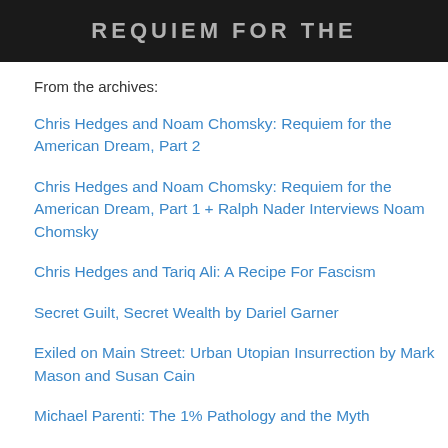[Figure (photo): Dark banner image with text 'REQUIEM FOR THE' in large bold letters, partially visible at top of page]
From the archives:
Chris Hedges and Noam Chomsky: Requiem for the American Dream, Part 2
Chris Hedges and Noam Chomsky: Requiem for the American Dream, Part 1 + Ralph Nader Interviews Noam Chomsky
Chris Hedges and Tariq Ali: A Recipe For Fascism
Secret Guilt, Secret Wealth by Dariel Garner
Exiled on Main Street: Urban Utopian Insurrection by Mark Mason and Susan Cain
Michael Parenti: The 1% Pathology and the Myth